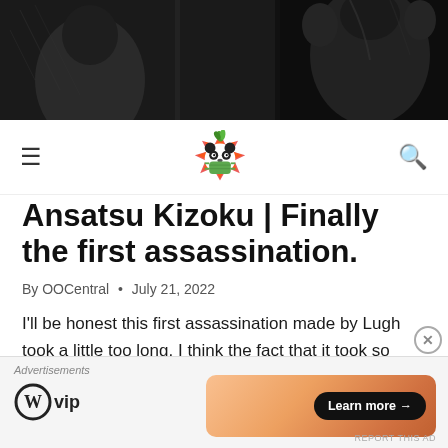[Figure (illustration): Dark manga/anime style illustration showing dark figures in black and white at the top of the page]
[Figure (logo): OOCentral website logo: a panda face with a mask wearing a maple leaf crown, flanked by hamburger menu icon and search icon in navbar]
Ansatsu Kizoku | Finally the first assassination.
By OOCentral • July 21, 2022
I'll be honest this first assassination made by Lugh took a little too long. I think the fact that it took so long was one of Ansatsu Kizoku's
[Figure (other): Advertisement banner at the bottom: WordPress VIP logo on the left and an orange gradient card with 'Learn more →' button on the right]